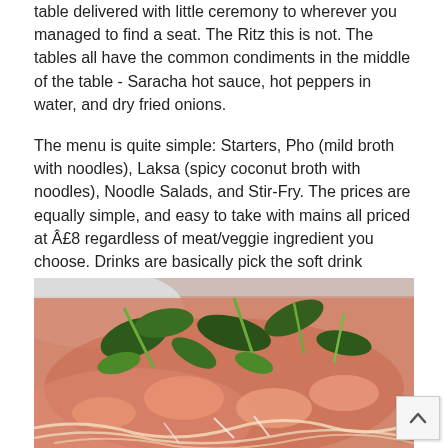table delivered with little ceremony to wherever you managed to find a seat. The Ritz this is not. The tables all have the common condiments in the middle of the table - Saracha hot sauce, hot peppers in water, and dry fried onions.
The menu is quite simple: Starters, Pho (mild broth with noodles), Laksa (spicy coconut broth with noodles), Noodle Salads, and Stir-Fry. The prices are equally simple, and easy to take with mains all priced at Â£8 regardless of meat/veggie ingredient you choose. Drinks are basically pick the soft drink yourself from the cooler or tea (I chose the later which was cheap, a full pot with a single jasmine tea bag). We decided to give the decidedly unspectacular starters a miss but ordered two noodle dishes instead: A prawn laksa and a chicken pho.
[Figure (photo): Close-up photo of a bowl of prawn laksa with green herbs/vegetables and noodles in a reddish-orange coconut broth]